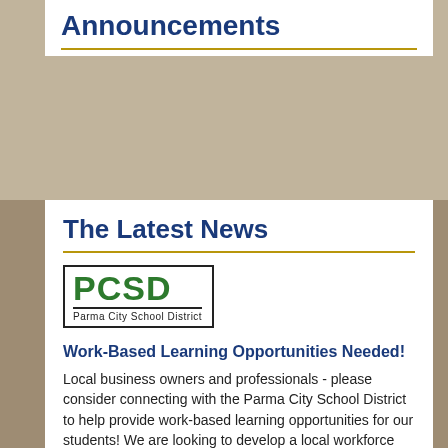Announcements
The Latest News
[Figure (logo): PCSD Parma City School District logo — green bold letters PCSD with underline and subtitle text]
Work-Based Learning Opportunities Needed!
Local business owners and professionals - please consider connecting with the Parma City School District to help provide work-based learning opportunities for our students! We are looking to develop a local workforce pipeline for the next generation of workers. You can help support our WBL programs in several ways